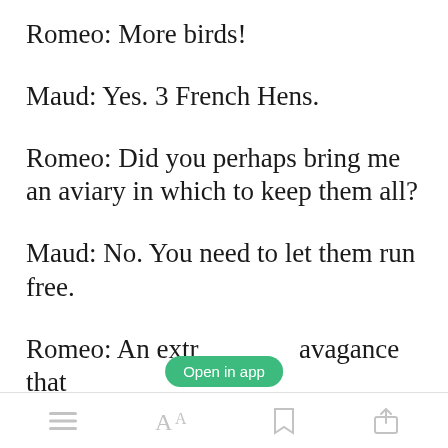Romeo: More birds!
Maud: Yes. 3 French Hens.
Romeo: Did you perhaps bring me an aviary in which to keep them all?
Maud: No. You need to let them run free.
Open in app
Romeo: An extravagance that